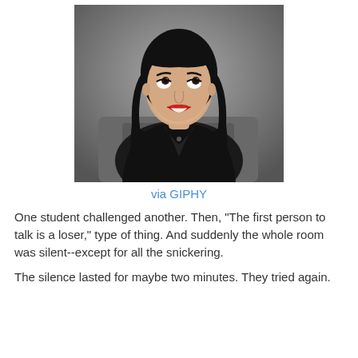[Figure (photo): A woman with long black hair and blunt bangs wearing a black leather jacket, sitting and looking upward with mouth slightly open, photographed against a gray background. Still from a TV show or film.]
via GIPHY
One student challenged another. Then, "The first person to talk is a loser," type of thing. And suddenly the whole room was silent--except for all the snickering.
The silence lasted for maybe two minutes. They tried again.